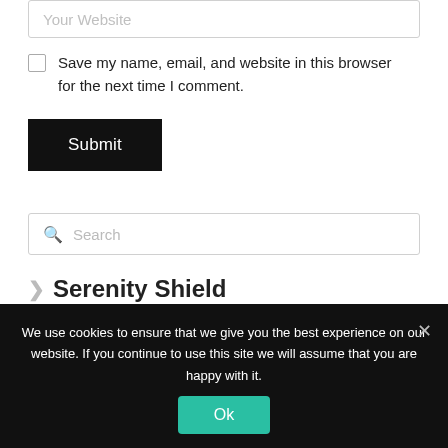Your Website
Save my name, email, and website in this browser for the next time I comment.
Submit
Search
Serenity Shield
We use cookies to ensure that we give you the best experience on our website. If you continue to use this site we will assume that you are happy with it.
Ok